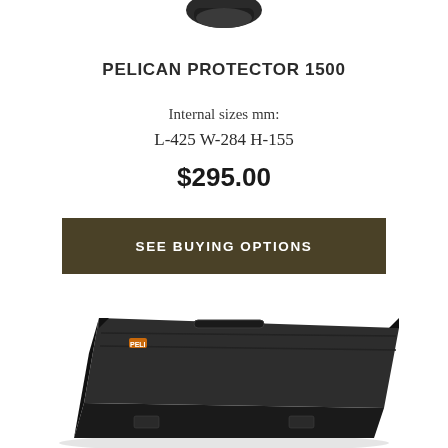[Figure (photo): Partial product image at top of page (cropped, showing bottom portion of a product)]
PELICAN PROTECTOR 1500
Internal sizes mm:
L-425 W-284 H-155
$295.00
SEE BUYING OPTIONS
[Figure (photo): Black Pelican Protector 1500 hard case shown at an angle, bottom portion visible]